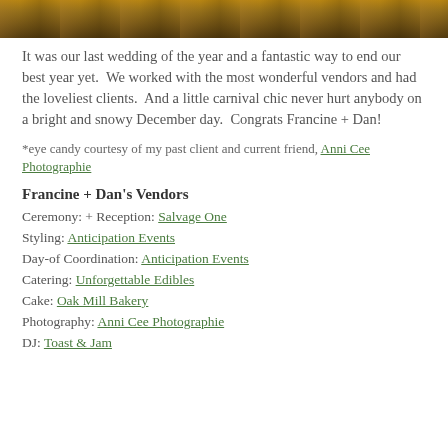[Figure (photo): Partial view of a warm-toned photo showing what appears to be a wooden or rustic decorative element with golden and brown tones, cropped at the top of the page.]
It was our last wedding of the year and a fantastic way to end our best year yet.  We worked with the most wonderful vendors and had the loveliest clients.  And a little carnival chic never hurt anybody on a bright and snowy December day.  Congrats Francine + Dan!
*eye candy courtesy of my past client and current friend, Anni Cee Photographie
Francine + Dan's Vendors
Ceremony: + Reception: Salvage One
Styling: Anticipation Events
Day-of Coordination: Anticipation Events
Catering: Unforgettable Edibles
Cake: Oak Mill Bakery
Photography: Anni Cee Photographie
DJ: Toast & Jam